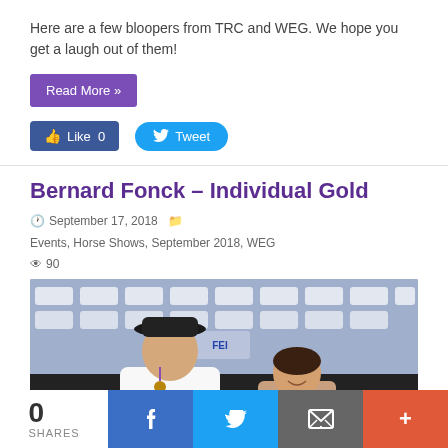Here are a few bloopers from TRC and WEG. We hope you get a laugh out of them!
Read More »
Like 0   Tweet
Bernard Fonck – Individual Gold
September 17, 2018  Events, Horse Shows, September 2018, WEG  90
[Figure (photo): Photo of a man in a white shirt and black cowboy hat wearing a medal, standing next to a woman, in front of a sponsor banner backdrop.]
0 SHARES  f  Tweet  (email icon)  +